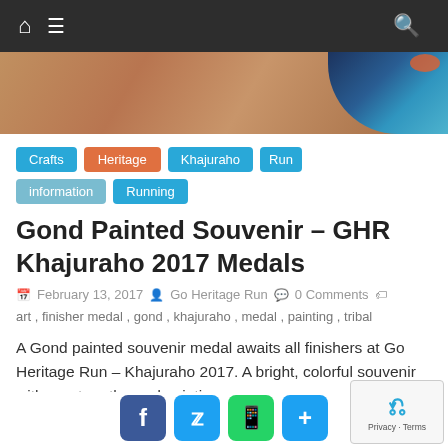Navigation bar with home, menu, and search icons
[Figure (photo): Hero image showing a decorative nature detail — tan/brown textured background with colorful blue and orange bird or art element on the right]
Crafts
Heritage
Khajuraho
Run
information
Running
Gond Painted Souvenir – GHR Khajuraho 2017 Medals
February 13, 2017   Go Heritage Run   0 Comments
art , finisher medal , gond , khajuraho , medal , painting , tribal
A Gond painted souvenir medal awaits all finishers at Go Heritage Run – Khajuraho 2017. A bright, colorful souvenir with a nature themed painting.
Read more